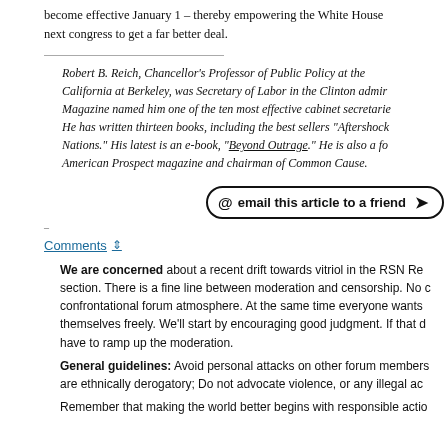become effective January 1 – thereby empowering the White House next congress to get a far better deal.
Robert B. Reich, Chancellor's Professor of Public Policy at the California at Berkeley, was Secretary of Labor in the Clinton admir Magazine named him one of the ten most effective cabinet secretarie He has written thirteen books, including the best sellers "Aftershock Nations." His latest is an e-book, "Beyond Outrage." He is also a fo American Prospect magazine and chairman of Common Cause.
[Figure (other): Email this article to a friend button with @ symbol and arrow]
–
Comments ⇕
We are concerned about a recent drift towards vitriol in the RSN Re section. There is a fine line between moderation and censorship. No confrontational forum atmosphere. At the same time everyone wants themselves freely. We'll start by encouraging good judgment. If that have to ramp up the moderation.
General guidelines: Avoid personal attacks on other forum members are ethnically derogatory; Do not advocate violence, or any illegal ac
Remember that making the world better begins with responsible actio